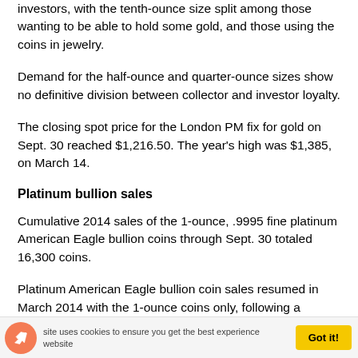investors, with the tenth-ounce size split among those wanting to be able to hold some gold, and those using the coins in jewelry.
Demand for the half-ounce and quarter-ounce sizes show no definitive division between collector and investor loyalty.
The closing spot price for the London PM fix for gold on Sept. 30 reached $1,216.50. The year's high was $1,385, on March 14.
Platinum bullion sales
Cumulative 2014 sales of the 1-ounce, .9995 fine platinum American Eagle bullion coins through Sept. 30 totaled 16,300 coins.
Platinum American Eagle bullion coin sales resumed in March 2014 with the 1-ounce coins only, following a
This site uses cookies to ensure you get the best experience on our website